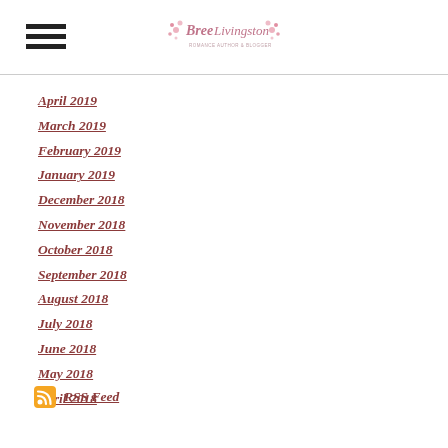Bree Livingston - blog header with logo and hamburger menu
April 2019
March 2019
February 2019
January 2019
December 2018
November 2018
October 2018
September 2018
August 2018
July 2018
June 2018
May 2018
April 2018
RSS Feed